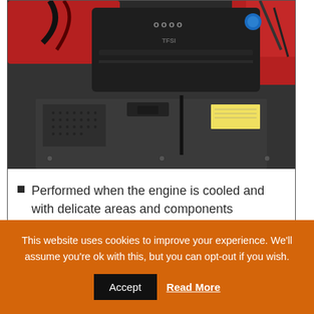[Figure (photo): Audi car engine bay showing a black engine cover with the Audi logo, red coolant reservoir, various hoses and components visible from above]
Performed when the engine is cooled and with delicate areas and components covered.
This website uses cookies to improve your experience. We'll assume you're ok with this, but you can opt-out if you wish.